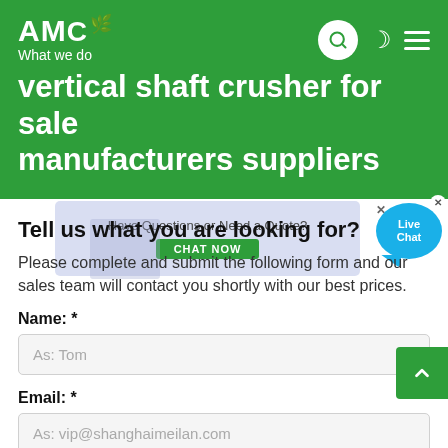AMC What we do
vertical shaft crusher for sale manufacturers suppliers
Tell us what you are looking for?
Please complete and submit the following form and our sales team will contact you shortly with our best prices.
Name: *
As: Tom
Email: *
As: vip@shanghaimeilan.com
Phone: *